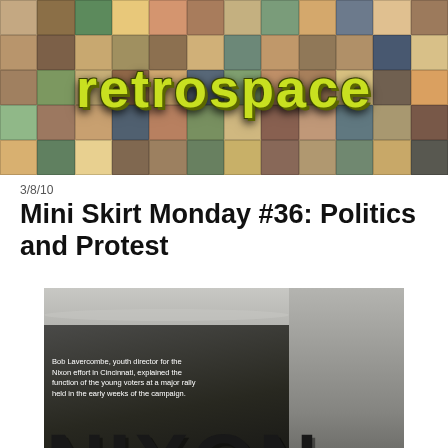[Figure (photo): Retrospace blog header banner — collage of 1970s pop-culture magazine images with the word 'retrospace' overlaid in large yellow-green graffiti-style lowercase letters]
3/8/10
Mini Skirt Monday #36: Politics and Protest
[Figure (photo): Black and white photograph showing a large NIXON campaign sign/billboard on a building, with a caption overlay reading: 'Bob Lavercombe, youth director for the Nixon effort in Cincinnati, explained the function of the young voters at a major rally held in the early weeks of the campaign.']